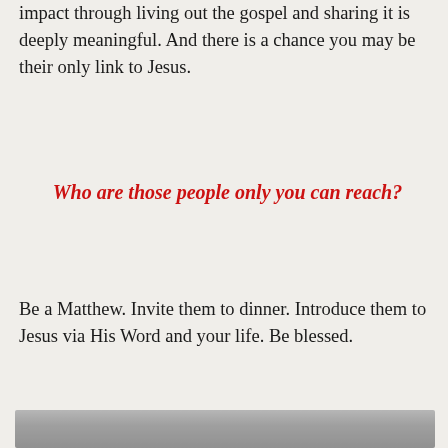impact through living out the gospel and sharing it is deeply meaningful. And there is a chance you may be their only link to Jesus.
Who are those people only you can reach?
Be a Matthew. Invite them to dinner. Introduce them to Jesus via His Word and your life. Be blessed.
[Figure (photo): A blurred/grayscale photo, partially visible at the bottom of the page.]